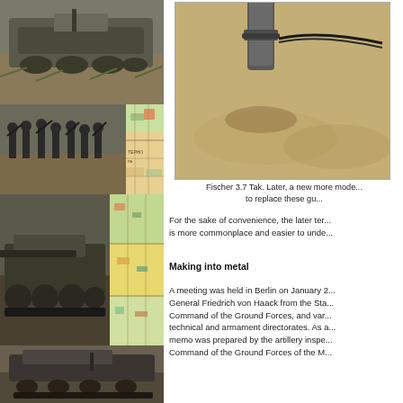[Figure (photo): Collage of black-and-white historical military photographs showing tanks and soldiers, plus a colorful map fragment. Top: tank in field. Middle-left: soldiers with weapons. Middle-right: partial map. Lower-left: tank with large gun barrel. Lower-right: colorful military map. Bottom: low-angle tank view.]
[Figure (photo): Close-up color photograph of a gun barrel or cannon muzzle on a sandy/ground surface, partially cut off at top and right edges, shown within a bordered frame.]
Fischer 3.7 Tak. Later, a new more mode... to replace these gu...
For the sake of convenience, the later ter... is more commonplace and easier to unde...
Making into metal
A meeting was held in Berlin on January 2... General Friedrich von Haack from the Sta... Command of the Ground Forces, and var... technical and armament directorates. As a... memo was prepared by the artillery inspe... Command of the Ground Forces of the M...